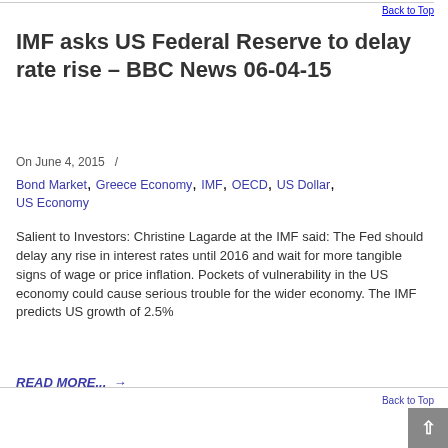Back to Top
IMF asks US Federal Reserve to delay rate rise – BBC News 06-04-15
On June 4, 2015  /
Bond Market, Greece Economy, IMF, OECD, US Dollar, US Economy
Salient to Investors: Christine Lagarde at the IMF said: The Fed should delay any rise in interest rates until 2016 and wait for more tangible signs of wage or price inflation. Pockets of vulnerability in the US economy could cause serious trouble for the wider economy. The IMF predicts US growth of 2.5%
READ MORE...  →
Back to Top